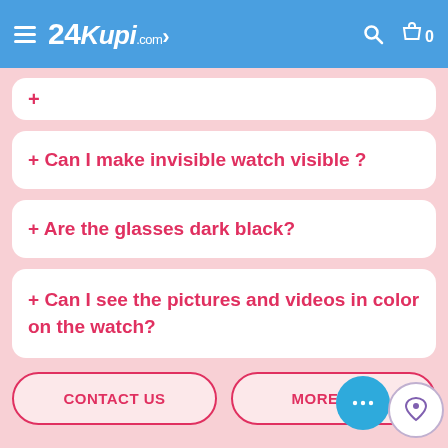24Kupi.com
+ Can I make invisible watch visible ?
+ Are the glasses dark black?
+ Can I see the pictures and videos in color on the watch?
CONTACT US
MORE FAQ